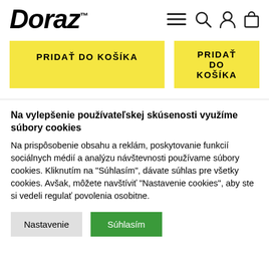Doraz™
PRIDAŤ DO KOŠÍKA
PRIDAŤ DO KOŠÍKA
Na vylepšenie používateľskej skúsenosti využíme súbory cookies
Na prispôsobenie obsahu a reklám, poskytovanie funkcií sociálnych médií a analýzu návštevnosti používame súbory cookies. Kliknutím na "Súhlasím", dávate súhlas pre všetky cookies. Avšak, môžete navštíviť "Nastavenie cookies", aby ste si vedeli regulať povolenia osobitne.
Nastavenie
Súhlasím